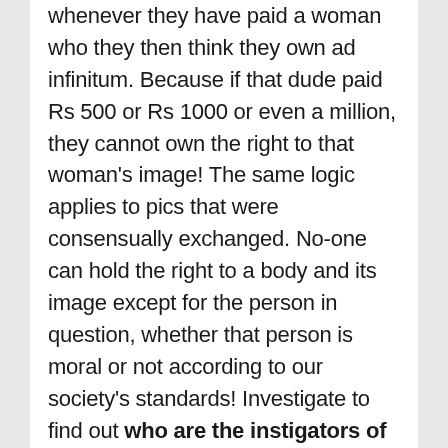whenever they have paid a woman who they then think they own ad infinitum. Because if that dude paid Rs 500 or Rs 1000 or even a million, they cannot own the right to that woman's image! The same logic applies to pics that were consensually exchanged. No-one can hold the right to a body and its image except for the person in question, whether that person is moral or not according to our society's standards! Investigate to find out who are the instigators of the groups instead of trying to find the identity of the girls or women whose pics were circulated, unless you intend to give them a voice that will not further exploit their misery.